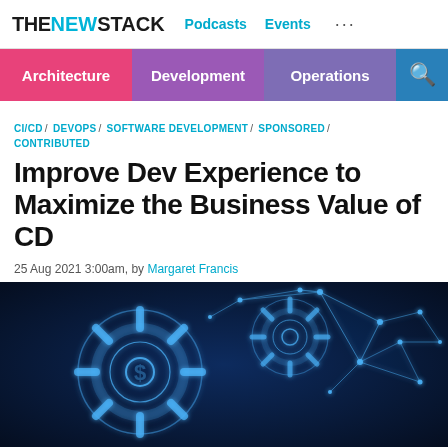THE NEW STACK   Podcasts   Events   ...
Architecture / Development / Operations
CI/CD / DEVOPS / SOFTWARE DEVELOPMENT / SPONSORED / CONTRIBUTED
Improve Dev Experience to Maximize the Business Value of CD
25 Aug 2021 3:00am, by Margaret Francis
[Figure (illustration): Dark blue background with glowing blue wireframe gear/cog and geometric network polygon shapes made of connected nodes and lines, representing technology and continuous delivery]